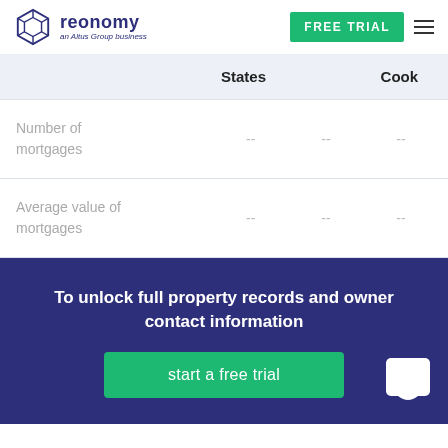reonomy — an Altus Group business | FREE TRIAL
|  | States | Cook |
| --- | --- | --- |
| Number of mortgages | -- | -- | -- |
| Average value of mortgages | -- | -- | -- |
To unlock full property records and owner contact information
start a free trial